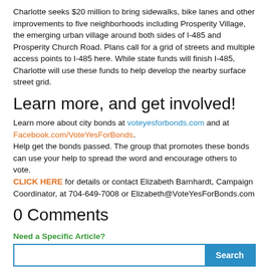Charlotte seeks $20 million to bring sidewalks, bike lanes and other improvements to five neighborhoods including Prosperity Village, the emerging urban village around both sides of I-485 and Prosperity Church Road. Plans call for a grid of streets and multiple access points to I-485 here. While state funds will finish I-485, Charlotte will use these funds to help develop the nearby surface street grid.
Learn more, and get involved!
Learn more about city bonds at voteyesforbonds.com and at Facebook.com/VoteYesForBonds. Help get the bonds passed. The group that promotes these bonds can use your help to spread the word and encourage others to vote. CLICK HERE for details or contact Elizabeth Barnhardt, Campaign Coordinator, at 704-649-7008 or Elizabeth@VoteYesForBonds.com
0 Comments
Need a Specific Article?